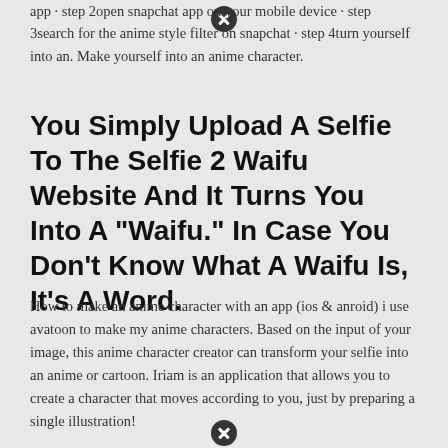app · step 2open snapchat app on your mobile device · step 3search for the anime style filter on snapchat · step 4turn yourself into an. Make yourself into an anime character.
You Simply Upload A Selfie To The Selfie 2 Waifu Website And It Turns You Into A "Waifu." In Case You Don't Know What A Waifu Is, It's A Word.
How to make an anime character with an app (ios & anroid) i use avatoon to make my anime characters. Based on the input of your image, this anime character creator can transform your selfie into an anime or cartoon. Iriam is an application that allows you to create a character that moves according to you, just by preparing a single illustration!